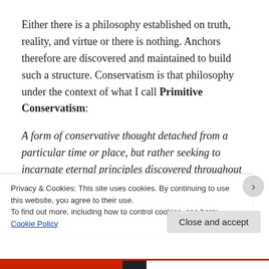Either there is a philosophy established on truth, reality, and virtue or there is nothing. Anchors therefore are discovered and maintained to build such a structure. Conservatism is that philosophy under the context of what I call Primitive Conservatism:
A form of conservative thought detached from a particular time or place, but rather seeking to incarnate eternal principles discovered throughout all human history. It values the rights of individuals th...
Privacy & Cookies: This site uses cookies. By continuing to use this website, you agree to their use.
To find out more, including how to control cookies, see here: Cookie Policy
Close and accept